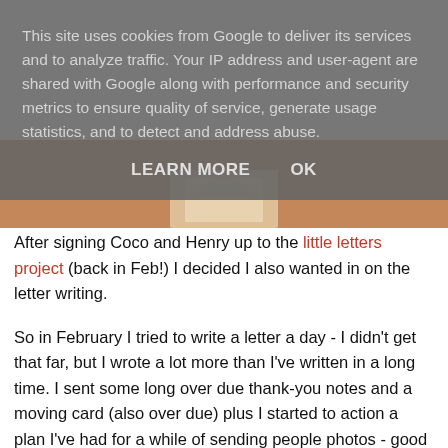This site uses cookies from Google to deliver its services and to analyze traffic. Your IP address and user-agent are shared with Google along with performance and security metrics to ensure quality of service, generate usage statistics, and to detect and address abuse.
LEARN MORE   OK
[Figure (photo): Partially visible brown/wooden surface photo underneath the cookie consent overlay]
After signing Coco and Henry up to the little letters project (back in Feb!) I decided I also wanted in on the letter writing.
So in February I tried to write a letter a day - I didn't get that far, but I wrote a lot more than I've written in a long time. I sent some long over due thank-you notes and a moving card (also over due) plus I started to action a plan I've had for a while of sending people photos - good ones that they might have forgotten were taken.
The idea was sparked by seeing my instagram friend @ridasj using the hashtag #ourmonthofletters - her project was slightly different in that she spent the month